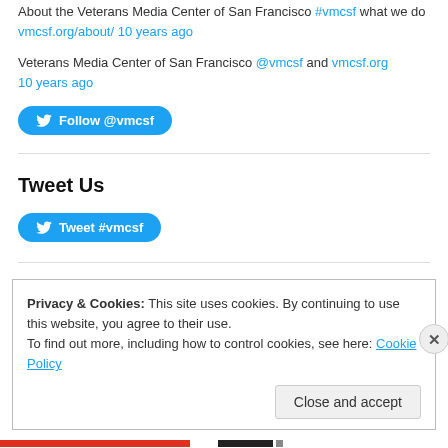About the Veterans Media Center of San Francisco #vmcsf what we do vmcsf.org/about/ 10 years ago
Veterans Media Center of San Francisco @vmcsf and vmcsf.org 10 years ago
[Figure (other): Twitter Follow button with bird icon: Follow @vmcsf]
Tweet Us
[Figure (other): Twitter Tweet button with bird icon: Tweet #vmcsf]
Privacy & Cookies: This site uses cookies. By continuing to use this website, you agree to their use. To find out more, including how to control cookies, see here: Cookie Policy
[Figure (other): Close and accept button in cookie consent dialog]